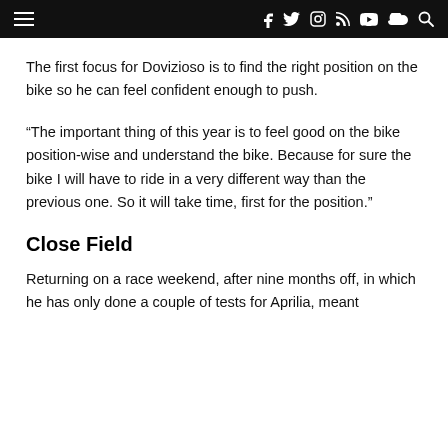≡  f  twitter  instagram  rss  youtube  soundcloud  search
The first focus for Dovizioso is to find the right position on the bike so he can feel confident enough to push.
“The important thing of this year is to feel good on the bike position-wise and understand the bike. Because for sure the bike I will have to ride in a very different way than the previous one. So it will take time, first for the position.”
Close Field
Returning on a race weekend, after nine months off, in which he has only done a couple of tests for Aprilia, meant